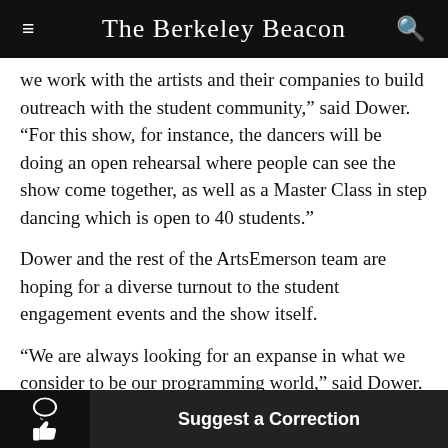The Berkeley Beacon
we work with the artists and their companies to build outreach with the student community,” said Dower. “For this show, for instance, the dancers will be doing an open rehearsal where people can see the show come together, as well as a Master Class in step dancing which is open to 40 students.”
Dower and the rest of the ArtsEmerson team are hoping for a diverse turnout to the student engagement events and the show itself.
“We are always looking for an expanse in what we consider to be our programming world,” said Dower. “Step Afrika! helps us express that.”
Suggest a Correction